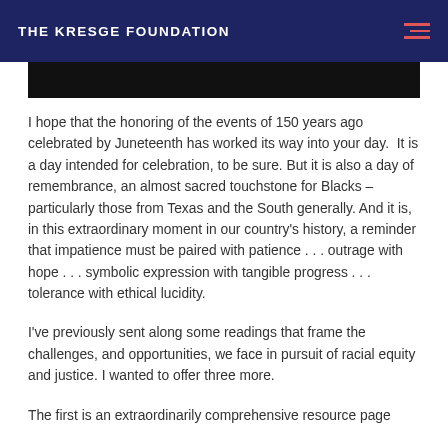THE KRESGE FOUNDATION
[Figure (photo): Black banner image strip at top of content area]
I hope that the honoring of the events of 150 years ago celebrated by Juneteenth has worked its way into your day.  It is a day intended for celebration, to be sure. But it is also a day of remembrance, an almost sacred touchstone for Blacks – particularly those from Texas and the South generally. And it is, in this extraordinary moment in our country's history, a reminder that impatience must be paired with patience . . . outrage with hope . . . symbolic expression with tangible progress . . . tolerance with ethical lucidity.
I've previously sent along some readings that frame the challenges, and opportunities, we face in pursuit of racial equity and justice. I wanted to offer three more.
The first is an extraordinarily comprehensive resource page